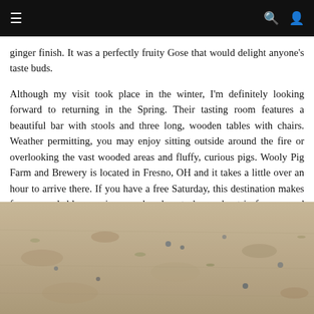☰  🔍  👤
ginger finish. It was a perfectly fruity Gose that would delight anyone's taste buds.
Although my visit took place in the winter, I'm definitely looking forward to returning in the Spring. Their tasting room features a beautiful bar with stools and three long, wooden tables with chairs. Weather permitting, you may enjoy sitting outside around the fire or overlooking the vast wooded areas and fluffy, curious pigs. Wooly Pig Farm and Brewery is located in Fresno, OH and it takes a little over an hour to arrive there. If you have a free Saturday, this destination makes for a remarkable experience and a close to home day trip for you and your friends and family.
[Figure (photo): Outdoor ground-level photo showing a sandy or dirt ground surface with sparse vegetation, appearing to be taken at Wooly Pig Farm.]